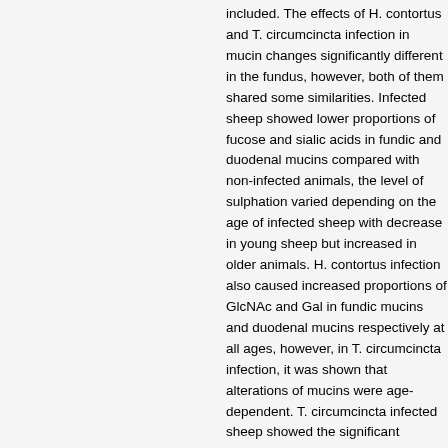included. The effects of H. contortus and T. circumcincta infection in mucin changes were significantly different in the fundus, however, both of them shared some similarities. Infected sheep showed lower proportions of fucose and sialic acids in fundic and duodenal mucins compared with non-infected animals, the level of sulphation varied depending on the age of infected sheep with decrease in young sheep but increase in older animals. H. contortus infection also caused increased proportions of GlcNAc and Gal in fundic mucins and duodenal mucins respectively at all ages, however, in T. circumcincta infection, it was shown that alterations of mucins were age-dependent. T. circumcincta infected sheep showed the significant changes at young ages (4-6 months-old) while 8-9 months-old animals showed less change in fundic mucins compared with non-infected animals. Effects of H. contortus and T. circumcincta infection differed in the fundic region but...